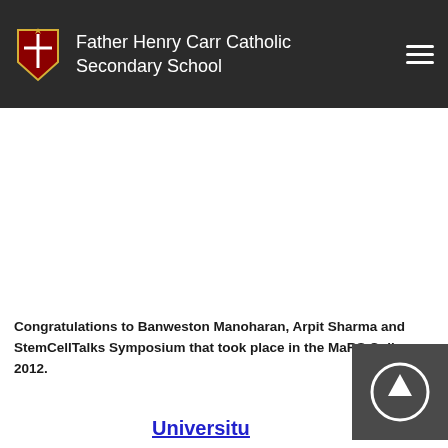Father Henry Carr Catholic Secondary School
Congratulations to Banweston Manoharan, Arpit Sharma and StemCellTalks Symposium that took place in the MaRS Coll... 2012.